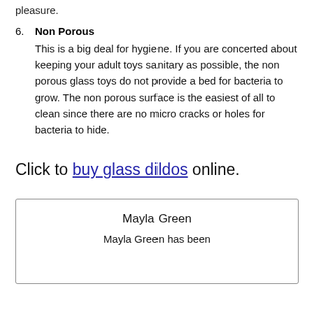pleasure.
6. Non Porous
This is a big deal for hygiene. If you are concerted about keeping your adult toys sanitary as possible, the non porous glass toys do not provide a bed for bacteria to grow. The non porous surface is the easiest of all to clean since there are no micro cracks or holes for bacteria to hide.
Click to buy glass dildos online.
Mayla Green

Mayla Green has been